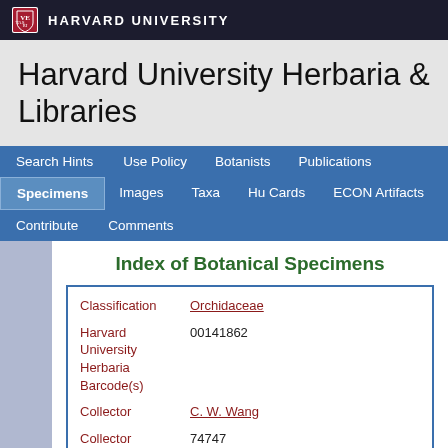HARVARD UNIVERSITY
Harvard University Herbaria & Libraries
Search Hints  Use Policy  Botanists  Publications  Specimens  Images  Taxa  Hu Cards  ECON Artifacts  Contribute  Comments
Index of Botanical Specimens
| Field | Value |
| --- | --- |
| Classification | Orchidaceae |
| Harvard University Herbaria Barcode(s) | 00141862 |
| Collector | C. W. Wang |
| Collector number | 74747 |
| Country | China |
| State | Yunnan |